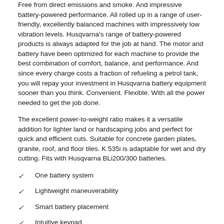Free from direct emissions and smoke. And impressive battery-powered performance. All rolled up in a range of user-friendly, excellently balanced machines with impressively low vibration levels. Husqvarna's range of battery-powered products is always adapted for the job at hand. The motor and battery have been optimized for each machine to provide the best combination of comfort, balance, and performance. And since every charge costs a fraction of refueling a petrol tank, you will repay your investment in Husqvarna battery equipment sooner than you think. Convenient. Flexible. With all the power needed to get the job done.
The excellent power-to-weight ratio makes it a versatile addition for lighter land or hardscaping jobs and perfect for quick and efficient cuts. Suitable for concrete garden plates, granite, roof, and floor tiles. K 535i is adaptable for wet and dry cutting. Fits with Husqvarna BLi200/300 batteries.
One battery system
Lightweight maneuverability
Smart battery placement
Intuitive keypad